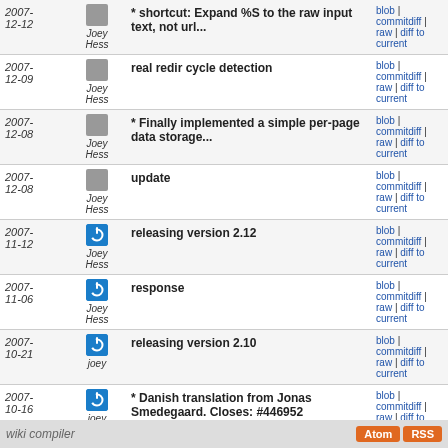| Date | Author | Message | Links |
| --- | --- | --- | --- |
| 2007-12-12 | Joey Hess | * shortcut: Expand %S to the raw input text, not url... | blob | commitdiff | raw | diff to current |
| 2007-12-09 | Joey Hess | real redir cycle detection | blob | commitdiff | raw | diff to current |
| 2007-12-08 | Joey Hess | * Finally implemented a simple per-page data storage... | blob | commitdiff | raw | diff to current |
| 2007-12-08 | Joey Hess | update | blob | commitdiff | raw | diff to current |
| 2007-11-12 | Joey Hess | releasing version 2.12 | blob | commitdiff | raw | diff to current |
| 2007-11-06 | Joey Hess | response | blob | commitdiff | raw | diff to current |
| 2007-10-21 | joey | releasing version 2.10 | blob | commitdiff | raw | diff to current |
| 2007-10-16 | joey | * Danish translation from Jonas Smedegaard. Closes: #446952 | blob | commitdiff | raw | diff to current |
wiki compiler   Atom RSS